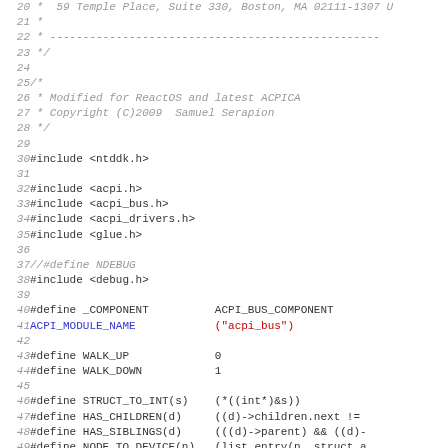Source code listing lines 20-51, C header file with ACPI bus driver includes and defines